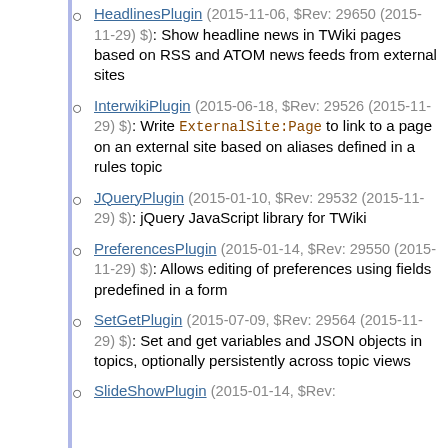HeadlinesPlugin (2015-11-06, $Rev: 29650 (2015-11-29) $): Show headline news in TWiki pages based on RSS and ATOM news feeds from external sites
InterwikiPlugin (2015-06-18, $Rev: 29526 (2015-11-29) $): Write ExternalSite:Page to link to a page on an external site based on aliases defined in a rules topic
JQueryPlugin (2015-01-10, $Rev: 29532 (2015-11-29) $): jQuery JavaScript library for TWiki
PreferencesPlugin (2015-01-14, $Rev: 29550 (2015-11-29) $): Allows editing of preferences using fields predefined in a form
SetGetPlugin (2015-07-09, $Rev: 29564 (2015-11-29) $): Set and get variables and JSON objects in topics, optionally persistently across topic views
SlideShowPlugin (2015-01-14, $Rev: ...